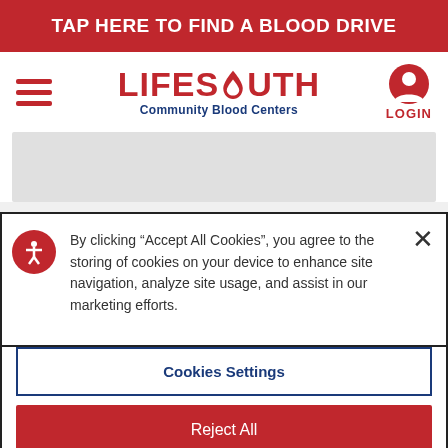TAP HERE TO FIND A BLOOD DRIVE
[Figure (logo): LifeSouth Community Blood Centers logo with hamburger menu and login button]
[Figure (screenshot): Gray content placeholder bar]
By clicking "Accept All Cookies", you agree to the storing of cookies on your device to enhance site navigation, analyze site usage, and assist in our marketing efforts.
Cookies Settings
Reject All
Accept All Cookies